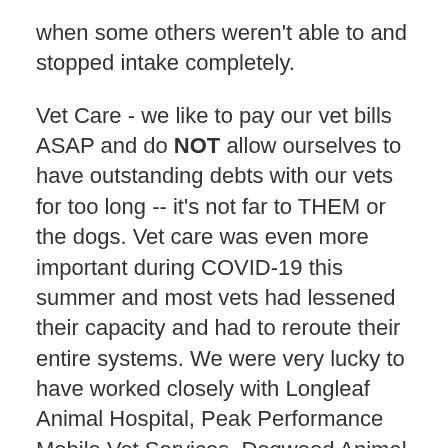when some others weren't able to and stopped intake completely.
Vet Care - we like to pay our vet bills ASAP and do NOT allow ourselves to have outstanding debts with our vets for too long -- it's not far to THEM or the dogs. Vet care was even more important during COVID-19 this summer and most vets had lessened their capacity and had to reroute their entire systems. We were very lucky to have worked closely with Longleaf Animal Hospital, Peak Performance Mobile Vet Services, Dogwood Animal Hospital, Vass Spay and Neuter Clinic of the Sandhills, Southern Oaks Animal Hospital and a few others!!
Foster Supplies - Dog food (some on special…